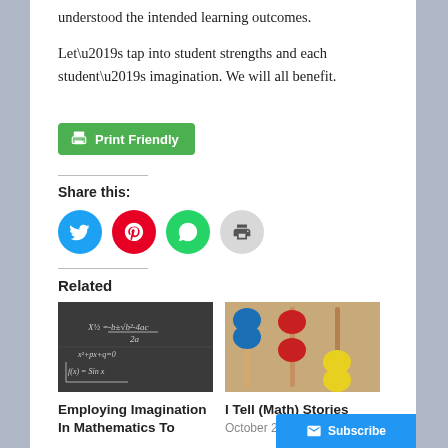understood the intended learning outcomes.
Let’s tap into student strengths and each student’s imagination. We will all benefit.
[Figure (other): Print Friendly green button with printer icon]
Share this:
[Figure (other): Social sharing icons: Twitter (blue circle), Pinterest (red circle), WhatsApp (green circle), Print (grey circle)]
Related
[Figure (photo): Chalkboard with math equations including quadratic formula and f(x)=sin x]
Employing Imagination In Mathematics To
[Figure (photo): Close-up of colorful abacus beads in blue, red, and yellow]
I Tell (Math) Stories
October 27, 2016